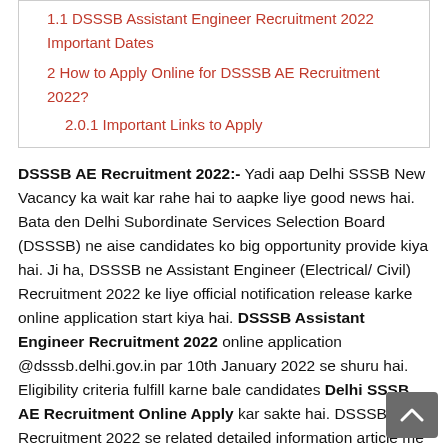1.1 DSSSB Assistant Engineer Recruitment 2022 Important Dates
2 How to Apply Online for DSSSB AE Recruitment 2022?
2.0.1 Important Links to Apply
DSSSB AE Recruitment 2022:- Yadi aap Delhi SSSB New Vacancy ka wait kar rahe hai to aapke liye good news hai. Bata den Delhi Subordinate Services Selection Board (DSSSB) ne aise candidates ko big opportunity provide kiya hai. Ji ha, DSSSB ne Assistant Engineer (Electrical/ Civil) Recruitment 2022 ke liye official notification release karke online application start kiya hai. DSSSB Assistant Engineer Recruitment 2022 online application @dsssb.delhi.gov.in par 10th January 2022 se shuru hai. Eligibility criteria fulfill karne bale candidates Delhi SSSB AE Recruitment Online Apply kar sakte hai. DSSSB AE Recruitment 2022 se related detailed information article me niche share kiya hai.